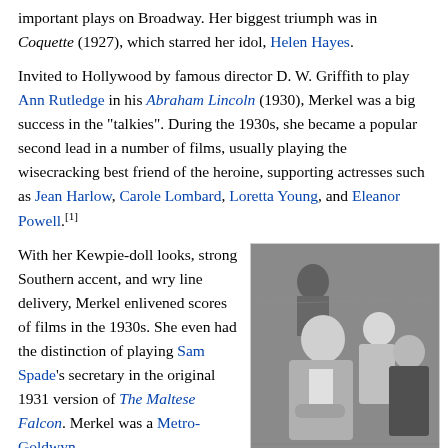important plays on Broadway. Her biggest triumph was in Coquette (1927), which starred her idol, Helen Hayes.
Invited to Hollywood by famous director D. W. Griffith to play Ann Rutledge in his Abraham Lincoln (1930), Merkel was a big success in the "talkies". During the 1930s, she became a popular second lead in a number of films, usually playing the wisecracking best friend of the heroine, supporting actresses such as Jean Harlow, Carole Lombard, Loretta Young, and Eleanor Powell.[1]
With her Kewpie-doll looks, strong Southern accent, and wry line delivery, Merkel enlivened scores of films in the 1930s. She even had the distinction of playing Sam Spade's secretary in the original 1931 version of The Maltese Falcon. Merkel was a Metro-Goldwyn-
[Figure (photo): Black and white photo of Una Merkel (right) with Phyllis Brooks and Gary Cooper at a Brisbane press conference on their way to entertain the troops (1943)]
Una Merkel (right) with Phyllis Brooks and Gary Cooper at a Brisbane press conference on their way to entertain the troops (1943)